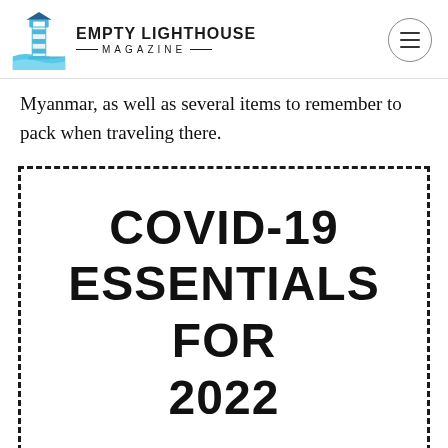EMPTY LIGHTHOUSE MAGAZINE
Myanmar, as well as several items to remember to pack when traveling there.
[Figure (infographic): Dashed border box containing bold text: COVID-19 ESSENTIALS FOR 2022]